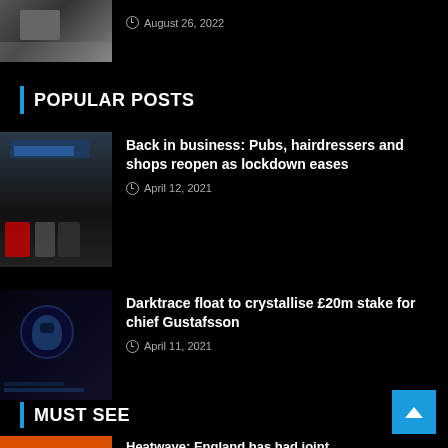[Figure (photo): Partial view of a news thumbnail image, person in yellow jacket visible]
August 26, 2022
POPULAR POSTS
[Figure (photo): People queuing outside a Primark store]
Back in business: Pubs, hairdressers and shops reopen as lockdown eases
April 12, 2021
[Figure (photo): Darktrace cybersecurity themed image with skull on screen]
Darktrace float to crystallise £20m stake for chief Gustafsson
April 11, 2021
MUST SEE
[Figure (photo): Orange/red colored thumbnail image]
Heatwave: England has had joint